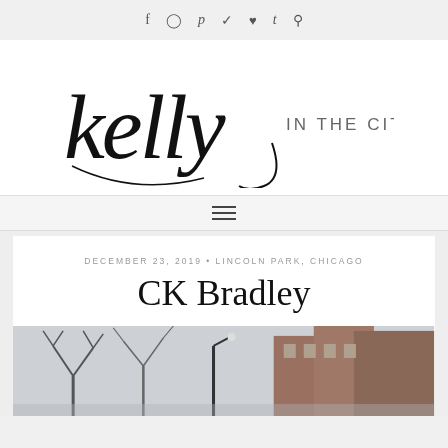f  ☆  p  ✦  ♥  t  🔍
[Figure (logo): Kelly in the City blog logo — 'kelly' in cursive script with 'IN THE CITY' in small caps beside it]
≡ (hamburger menu)
DECEMBER 23, 2019 • LINCOLN PARK, CHICAGO
CK Bradley
[Figure (photo): Outdoor photo showing bare winter trees and a brick building exterior in Lincoln Park, Chicago]